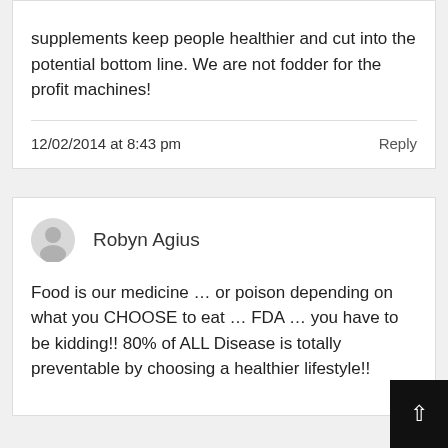supplements keep people healthier and cut into the potential bottom line. We are not fodder for the profit machines!
12/02/2014 at 8:43 pm
Reply
Robyn Agius
Food is our medicine … or poison depending on what you CHOOSE to eat … FDA … you have to be kidding!! 80% of ALL Disease is totally preventable by choosing a healthier lifestyle!!